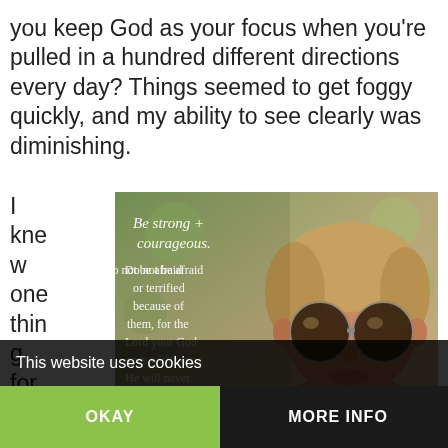you keep God as your focus when you're pulled in a hundred different directions every day? Things seemed to get foggy quickly, and my ability to see clearly was diminishing.
I knew one thing for certain; I
[Figure (photo): Photo of a young woman wearing round sunglasses with overlaid scripture text: 'Be strong + courageous. Do not be afraid or terrified because of them, for the Lord your God goes with you: He will never leave your nor...']
This website uses cookies
OKAY
MORE INFO